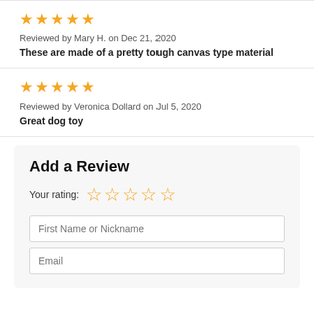[Figure (other): 5 filled orange stars rating]
Reviewed by Mary H. on Dec 21, 2020
These are made of a pretty tough canvas type material
[Figure (other): 5 filled orange stars rating]
Reviewed by Veronica Dollard on Jul 5, 2020
Great dog toy
Add a Review
Your rating:
[Figure (other): 5 empty orange star outlines for rating input]
First Name or Nickname
Email